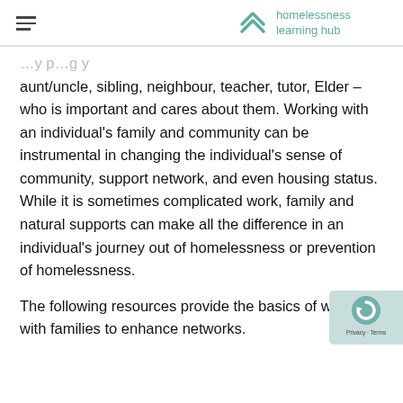homelessness learning hub
aunt/uncle, sibling, neighbour, teacher, tutor, Elder – who is important and cares about them. Working with an individual's family and community can be instrumental in changing the individual's sense of community, support network, and even housing status. While it is sometimes complicated work, family and natural supports can make all the difference in an individual's journey out of homelessness or prevention of homelessness.
The following resources provide the basics of working with families to enhance networks.